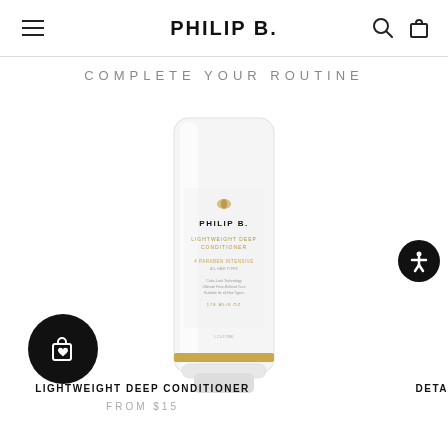PHILIP B.
COMPLETE YOUR ROUTINE
[Figure (photo): White tube of Philip B. Lightweight Deep Conditioner hair product with gold accent band near the base]
LIGHTWEIGHT DEEP CONDITIONER
FROM $15
DETA